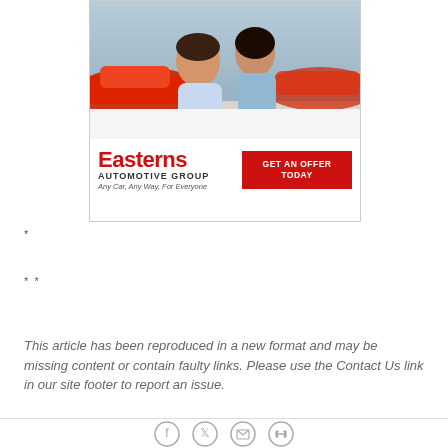[Figure (photo): Easterns Automotive Group advertisement showing a man and woman smiling at a car dealership with red cars in the background. Bottom section has the Easterns logo in red, tagline 'Any Car, Any Way, For Everyone', and a red 'GET AN OFFER TODAY' button.]
*
* *
This article has been reproduced in a new format and may be missing content or contain faulty links. Please use the Contact Us link in our site footer to report an issue.
[Figure (other): Social media share icons: Facebook, Twitter, Email, and link/chain icon, arranged horizontally in circles]